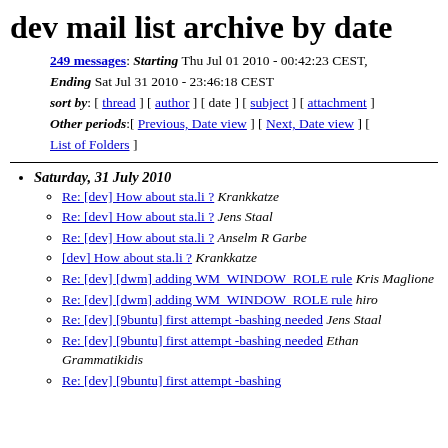dev mail list archive by date
249 messages: Starting Thu Jul 01 2010 - 00:42:23 CEST, Ending Sat Jul 31 2010 - 23:46:18 CEST
sort by: [ thread ] [ author ] [ date ] [ subject ] [ attachment ]
Other periods:[ Previous, Date view ] [ Next, Date view ] [ List of Folders ]
Saturday, 31 July 2010
Re: [dev] How about sta.li ? Krankkatze
Re: [dev] How about sta.li ? Jens Staal
Re: [dev] How about sta.li ? Anselm R Garbe
[dev] How about sta.li ? Krankkatze
Re: [dev] [dwm] adding WM_WINDOW_ROLE rule Kris Maglione
Re: [dev] [dwm] adding WM_WINDOW_ROLE rule hiro
Re: [dev] [9buntu] first attempt -bashing needed Jens Staal
Re: [dev] [9buntu] first attempt -bashing needed Ethan Grammatikidis
Re: [dev] [9buntu] first attempt -bashing